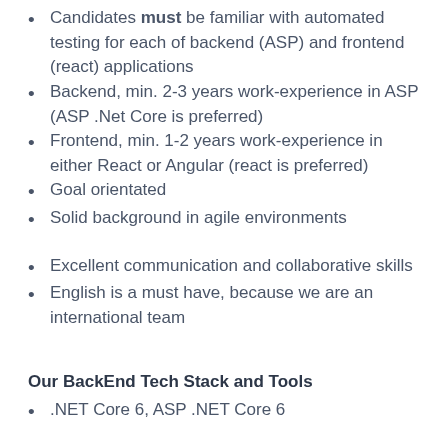Candidates must be familiar with automated testing for each of backend (ASP) and frontend (react) applications
Backend, min. 2-3 years work-experience in ASP (ASP .Net Core is preferred)
Frontend, min. 1-2 years work-experience in either React or Angular (react is preferred)
Goal orientated
Solid background in agile environments
Excellent communication and collaborative skills
English is a must have, because we are an international team
Our BackEnd Tech Stack and Tools
.NET Core 6, ASP .NET Core 6